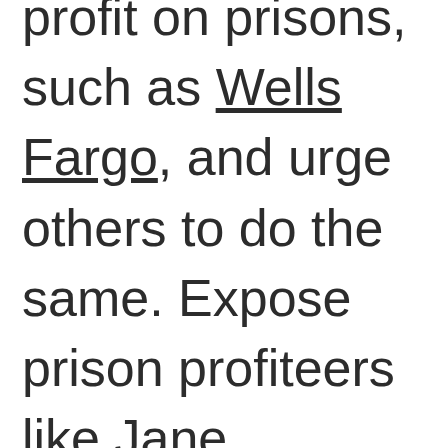profit on prisons, such as Wells Fargo, and urge others to do the same. Expose prison profiteers like Jane Marquardt and